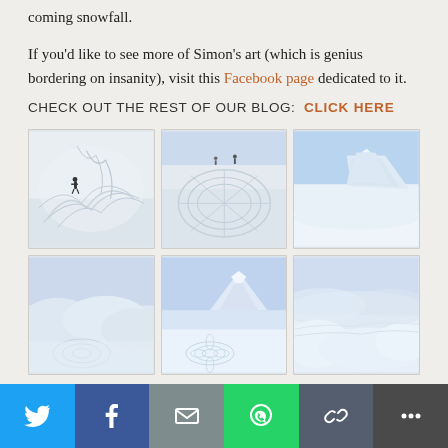coming snowfall.
If you'd like to see more of Simon's art (which is genius bordering on insanity), visit this Facebook page dedicated to it.
CHECK OUT THE REST OF OUR BLOG:  CLICK HERE
[Figure (photo): Snow art pattern with a person walking — aerial view showing intricate tracks in snow]
[Figure (photo): Snow art circular pattern — aerial view with person visible, intricate tire/foot tracks]
[Figure (photo): Snow-covered mountain peaks in blue sky — landscape photo]
[Figure (photo): Snow landscape with gentle hills and circular snow art pattern in foreground]
[Figure (photo): Snow-covered mountain with blue sky — landscape with floral snow art pattern]
[Figure (photo): Misty snowy landscape with wind-swept snow formations]